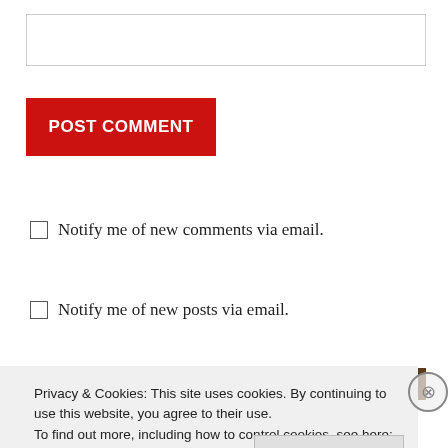[Figure (other): Empty text input box with gray border]
POST COMMENT
Notify me of new comments via email.
Notify me of new posts via email.
[Figure (illustration): Food-themed banner with dark brown background showing food doodles and text 'foody']
Privacy & Cookies: This site uses cookies. By continuing to use this website, you agree to their use.
To find out more, including how to control cookies, see here: Cookie Policy
Close and accept